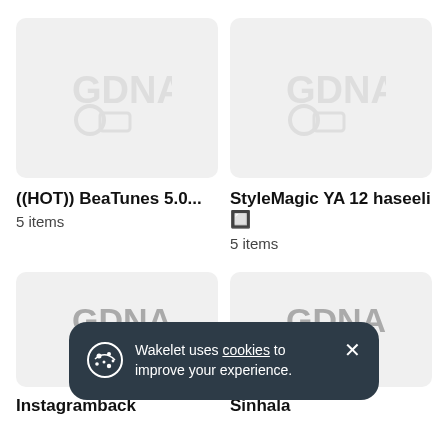[Figure (screenshot): Thumbnail placeholder image with faint GDNA-style watermark logo, light grey background, rounded corners - card 1 top left]
[Figure (screenshot): Thumbnail placeholder image with faint GDNA-style watermark logo, light grey background, rounded corners - card 2 top right]
((HOT)) BeaTunes 5.0...
5 items
StyleMagic YA 12 haseeli 🔲
5 items
[Figure (screenshot): Thumbnail placeholder image with faint GDNA-style watermark logo, light grey background, rounded corners - card 3 bottom left]
[Figure (screenshot): Thumbnail placeholder image with faint GDNA-style watermark logo, light grey background, rounded corners - card 4 bottom right]
Instagramback
Sinhala
Wakelet uses cookies to improve your experience.